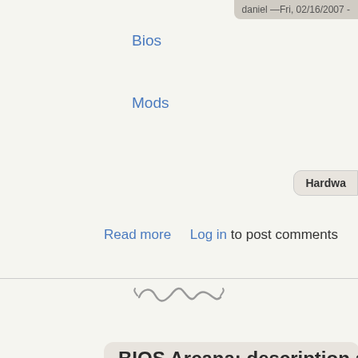daniel —Fri, 02/16/2007 -
Bios
Mods
Hardwa
Read more   Log in to post comments
BIOS Arcana: description and translatio
daniel —Fri, 02/16/2007 -
by Wayne "Hat Monster" Hardman
The BIOS is that dark, cavernous pathway to your computer's soul that both beckons and repels the would-be performance s. The BIOS can open up major performance pleasure for you, or hide that one little pesky setting that's causing your daily blues and you just don't know why. If you royally jack your BIOS, you toast your system to the point which you may need a system re or some new hardware. Don't get me wrong--it's not as though that easy to do major damage to your system via the BIOS. It's